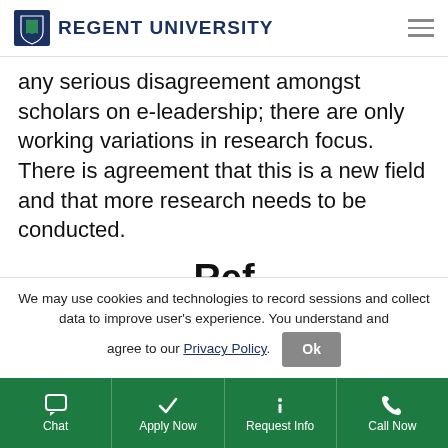Regent University
any serious disagreement amongst scholars on e-leadership; there are only working variations in research focus. There is agreement that this is a new field and that more research needs to be conducted.
Ref...
We may use cookies and technologies to record sessions and collect data to improve user's experience. You understand and agree to our Privacy Policy.
Chat | Apply Now | Request Info | Call Now